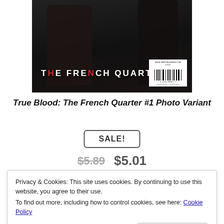[Figure (photo): Book cover of 'The French Quarter' showing two dark-clothed figures, one holding an object, with barcode and website URL visible. Dark moody background.]
True Blood: The French Quarter #1 Photo Variant
SALE!
$5.89  $5.01
Privacy & Cookies: This site uses cookies. By continuing to use this website, you agree to their use.
To find out more, including how to control cookies, see here: Cookie Policy
Close and accept